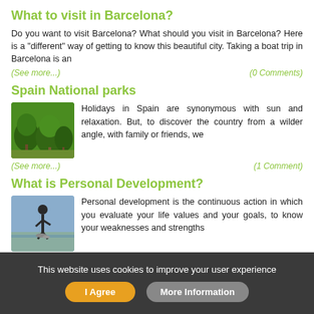What to visit in Barcelona?
Do you want to visit Barcelona? What should you visit in Barcelona? Here is a "different" way of getting to know this beautiful city. Taking a boat trip in Barcelona is an
(See more...)   (0 Comments)
Spain National parks
Holidays in Spain are synonymous with sun and relaxation. But, to discover the country from a wilder angle, with family or friends, we
(See more...)   (1 Comment)
What is Personal Development?
Personal development is the continuous action in which you evaluate your life values and your goals, to know your weaknesses and strengths
(See more...)   (0 Comments)
This website uses cookies to improve your user experience